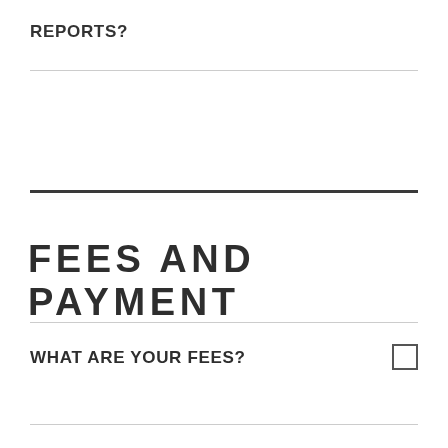REPORTS?
FEES AND PAYMENT
WHAT ARE YOUR FEES?